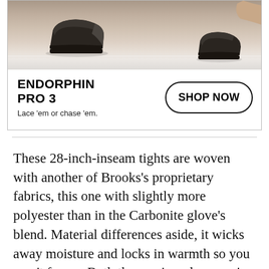[Figure (photo): Advertisement photo showing running shoes from above on a light floor, for Brooks Endorphin Pro 3]
ENDORPHIN PRO 3
Lace 'em or chase 'em.
SHOP NOW
These 28-inch-inseam tights are woven with another of Brooks's proprietary fabrics, this one with slightly more polyester than in the Carbonite glove's blend. Material differences aside, it wicks away moisture and locks in warmth so you won't freeze. Both the men's and women's tights have side pockets with ample room for storage. Testers liked how comfy the tights were but wished there was more reflective detail. For a more visible